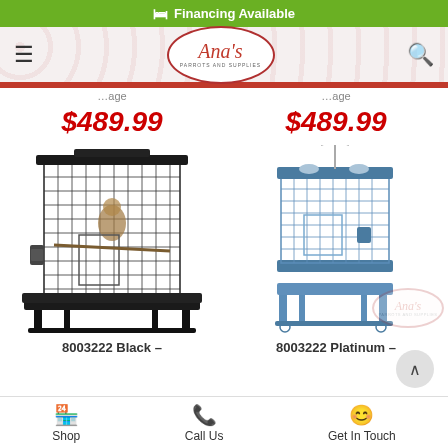Financing Available
[Figure (screenshot): Ana's Parrots and Supplies logo in oval frame]
$489.99
$489.99
[Figure (photo): 8003222 Black parrot cage, large black metal cage with bird inside]
[Figure (photo): 8003222 Platinum parrot cage, blue/platinum metal cage with water bottle attachment]
8003222 Black –
8003222 Platinum –
Shop   Call Us   Get In Touch